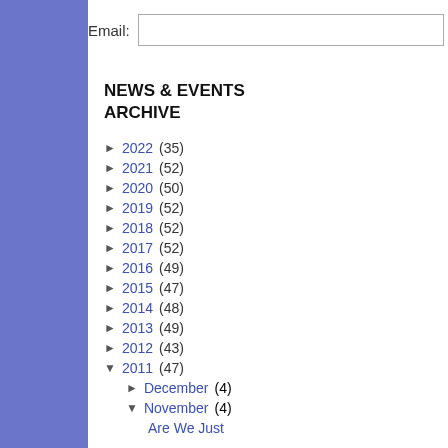Email: [input] Subscribe
NEWS & EVENTS ARCHIVE
► 2022 (35)
► 2021 (52)
► 2020 (50)
► 2019 (52)
► 2018 (52)
► 2017 (52)
► 2016 (49)
► 2015 (47)
► 2014 (48)
► 2013 (49)
► 2012 (43)
▼ 2011 (47)
► December (4)
▼ November (4)
Are We Just
SUBSCRIBE TO
Posts
All Comments